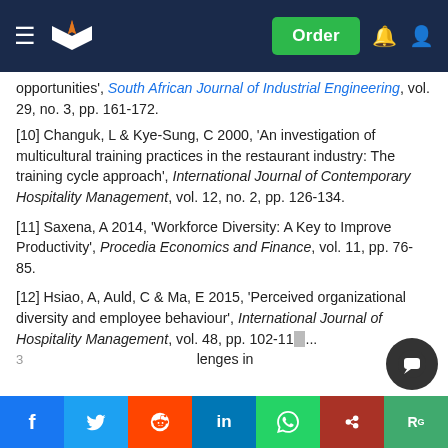Website header with logo and Order button
opportunities', South African Journal of Industrial Engineering, vol. 29, no. 3, pp. 161-172.
[10] Changuk, L & Kye-Sung, C 2000, 'An investigation of multicultural training practices in the restaurant industry: The training cycle approach', International Journal of Contemporary Hospitality Management, vol. 12, no. 2, pp. 126-134.
[11] Saxena, A 2014, 'Workforce Diversity: A Key to Improve Productivity', Procedia Economics and Finance, vol. 11, pp. 76-85.
[12] Hsiao, A, Auld, C & Ma, E 2015, 'Perceived organizational diversity and employee behaviour', International Journal of Hospitality Management, vol. 48, pp. 102-11... challenges in
Social share bar: Facebook, Twitter, Reddit, LinkedIn, WhatsApp, Mendeley, ResearchGate